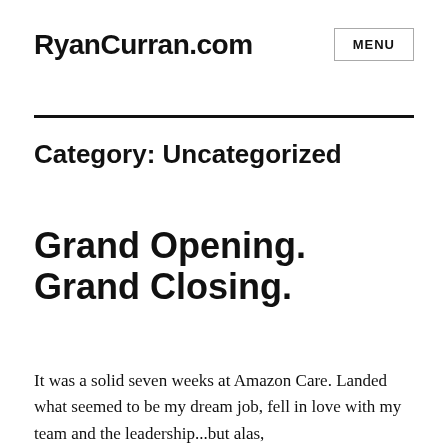RyanCurran.com
Category: Uncategorized
Grand Opening. Grand Closing.
It was a solid seven weeks at Amazon Care. Landed what seemed to be my dream job, fell in love with my team and the leadership...but alas,